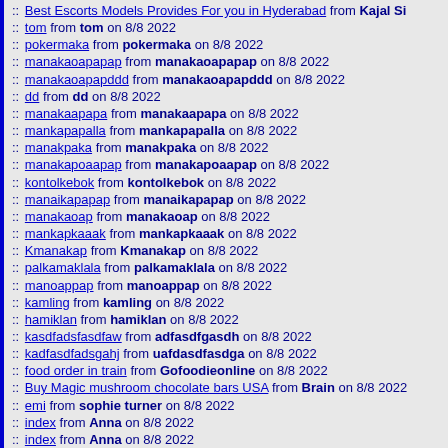:: Best Escorts Models Provides For you in Hyderabad from Kajal Si...
:: tom from tom on 8/8 2022
:: pokermaka from pokermaka on 8/8 2022
:: manakaoapapap from manakaoapapap on 8/8 2022
:: manakaoapapddd from manakaoapapddd on 8/8 2022
:: dd from dd on 8/8 2022
:: manakaapapa from manakaapapa on 8/8 2022
:: mankapapalla from mankapapalla on 8/8 2022
:: manakpaka from manakpaka on 8/8 2022
:: manakapoaapap from manakapoaapap on 8/8 2022
:: kontolkebok from kontolkebok on 8/8 2022
:: manaikapapap from manaikapapap on 8/8 2022
:: manakaoap from manakaoap on 8/8 2022
:: mankapkaaak from mankapkaaak on 8/8 2022
:: Kmanakap from Kmanakap on 8/8 2022
:: palkamaklala from palkamaklala on 8/8 2022
:: manoappap from manoappap on 8/8 2022
:: kamling from kamling on 8/8 2022
:: hamiklan from hamiklan on 8/8 2022
:: kasdfadsfasdfaw from adfasdfgasdh on 8/8 2022
:: kadfasdfadsgahj from uafdasdfasdga on 8/8 2022
:: food order in train from Gofoodieonline on 8/8 2022
:: Buy Magic mushroom chocolate bars USA from Brain on 8/8 2022
:: emi from sophie turner on 8/8 2022
:: index from Anna on 8/8 2022
:: index from Anna on 8/8 2022
:: Silagra 100 Mg - Make Your Love Relationship Magically from Jaso...
:: https://back-links-blogs.blogspot.com/ from Backlink Blog on 8/8 2...
:: turbo tergacor from turbo on 8/8 2022
:: Coinbase sign in from Demarion John on 8/8 2022
:: lookarara from lookarara on 8/8 2022